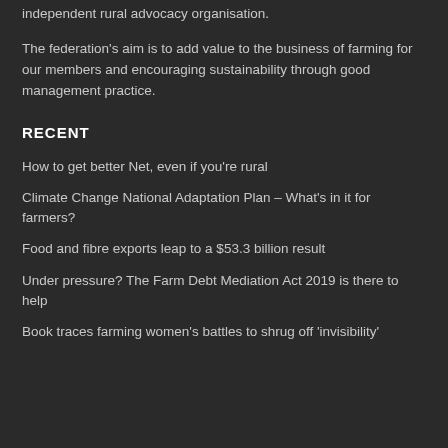independent rural advocacy organisation.
The federation's aim is to add value to the business of farming for our members and encouraging sustainability through good management practice.
RECENT
How to get better Net, even if you're rural
Climate Change National Adaptation Plan – What's in it for farmers?
Food and fibre exports leap to a $53.3 billion result
Under pressure? The Farm Debt Mediation Act 2019 is there to help
Book traces farming women's battles to shrug off 'invisibility'